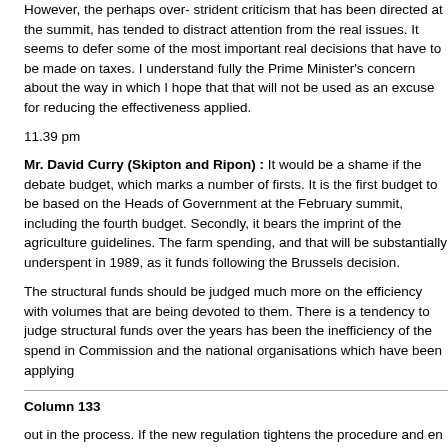However, the perhaps over- strident criticism that has been directed at the summit, has tended to distract attention from the real issues. It seems to defer some of the most important real decisions that have to be made on taxes. I understand fully the Prime Minister's concern about the way in which I hope that that will not be used as an excuse for reducing the effectiveness applied.
11.39 pm
Mr. David Curry (Skipton and Ripon) : It would be a shame if the debate budget, which marks a number of firsts. It is the first budget to be based on the Heads of Government at the February summit, including the fourth budget. Secondly, it bears the imprint of the agriculture guidelines. The farm spending, and that will be substantially underspent in 1989, as it funds following the Brussels decision.
The structural funds should be judged much more on the efficiency with volumes that are being devoted to them. There is a tendency to judge structural funds over the years has been the inefficiency of the spend in Commission and the national organisations which have been applying
Column 133
out in the process. If the new regulation tightens the procedure and en considerable service.
The budget has been drawn up in the light of the institutional agreement between the Parliament, the Commission and the Council. It is worth n without that habitual frontier warfare which characterises relations bet Parliament, having remained in its margin until now, will see the budge